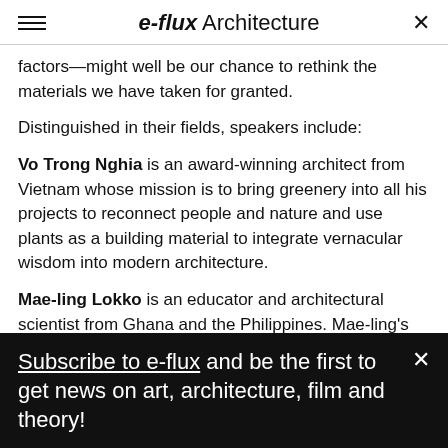e-flux Architecture
factors—might well be our chance to rethink the materials we have taken for granted.
Distinguished in their fields, speakers include:
Vo Trong Nghia is an award-winning architect from Vietnam whose mission is to bring greenery into all his projects to reconnect people and nature and use plants as a building material to integrate vernacular wisdom into modern architecture.
Mae-ling Lokko is an educator and architectural scientist from Ghana and the Philippines. Mae-ling's
Subscribe to e-flux and be the first to get news on art, architecture, film and theory!